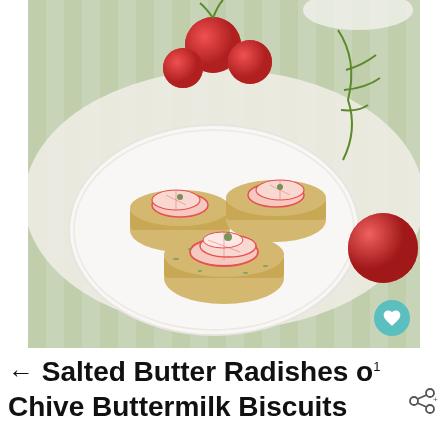[Figure (photo): A white oval plate holding three biscuits topped with sliced radishes and herb butter, set on a white lace and linen table runner. Whole red radishes and a sprig of herbs are scattered around the plate on a green striped background.]
← Salted Butter Radishes on Chive Buttermilk Biscuits